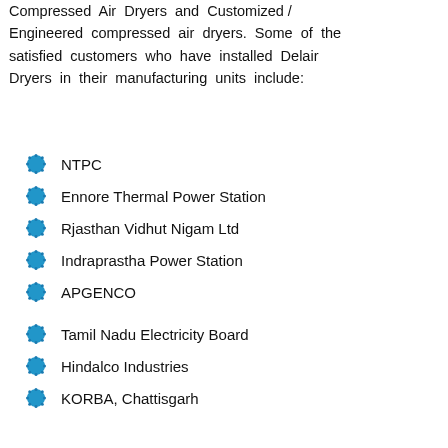Compressed Air Dryers and Customized / Engineered compressed air dryers. Some of the satisfied customers who have installed Delair Dryers in their manufacturing units include:
NTPC
Ennore Thermal Power Station
Rjasthan Vidhut Nigam Ltd
Indraprastha Power Station
APGENCO
Tamil Nadu Electricity Board
Hindalco Industries
KORBA, Chattisgarh